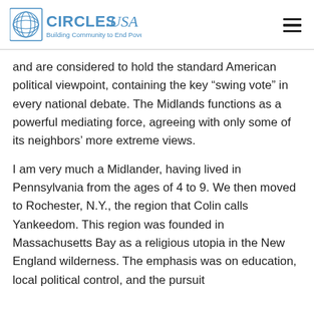CIRCLES.USA Building Community to End Poverty
and are considered to hold the standard American political viewpoint, containing the key “swing vote” in every national debate. The Midlands functions as a powerful mediating force, agreeing with only some of its neighbors’ more extreme views.
I am very much a Midlander, having lived in Pennsylvania from the ages of 4 to 9. We then moved to Rochester, N.Y., the region that Colin calls Yankeedom. This region was founded in Massachusetts Bay as a religious utopia in the New England wilderness. The emphasis was on education, local political control, and the pursuit of the common good of the community. No b...